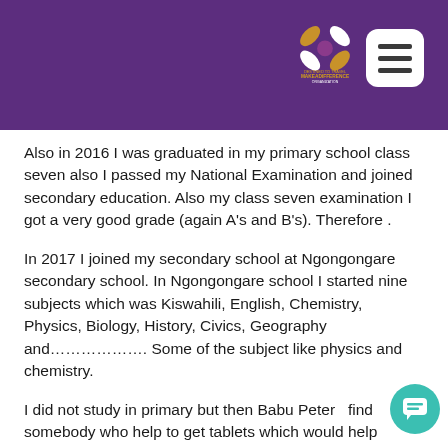[Figure (logo): Make A Difference Organization logo with decorative X symbol in gold/white and a menu button]
Also in 2016 I was graduated in my primary school class seven also I passed my National Examination and joined secondary education. Also my class seven examination I got a very good grade (again A's and B's). Therefore .
In 2017 I joined my secondary school at Ngongongare secondary school. In Ngongongare school I started nine subjects which was Kiswahili, English, Chemistry, Physics, Biology, History, Civics, Geography and………………. Some of the subject like physics and chemistry.
I did not study in primary but then Babu Peter  find somebody who help to get tablets which would help Googling some subjects in order to kechup.